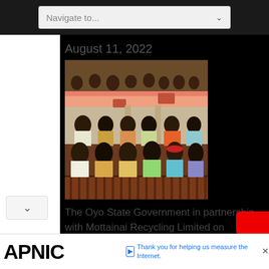Navigate to...
August 11, 2022
[Figure (photo): A crowded indoor venue, likely a government hall or community center, showing rows of people seated in dark wooden pews/benches. Many attendees are wearing colorful traditional African clothing. A balcony with more people is visible in the background. The building has terracotta/salmon-colored architectural elements and pillars.]
The Oyo State Government in partnership with Mottainai Recycling Limited on Wednesday, met... more»
APNIC  Thank you for helping us measure the Internet.